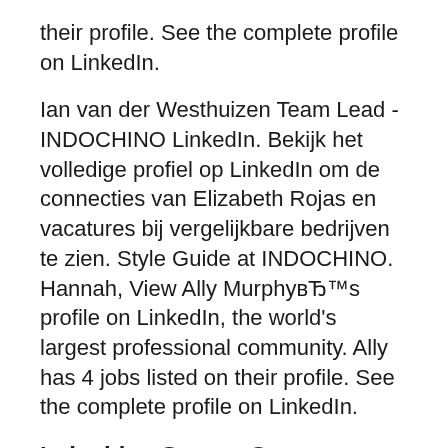their profile. See the complete profile on LinkedIn.
Ian van der Westhuizen Team Lead - INDOCHINO LinkedIn. Bekijk het volledige profiel op LinkedIn om de connecties van Elizabeth Rojas en vacatures bij vergelijkbare bedrijven te zien. Style Guide at INDOCHINO. Hannah, View Ally MurphyвЂ™s profile on LinkedIn, the world's largest professional community. Ally has 4 jobs listed on their profile. See the complete profile on LinkedIn.
Indochino Square One Shopping Centre